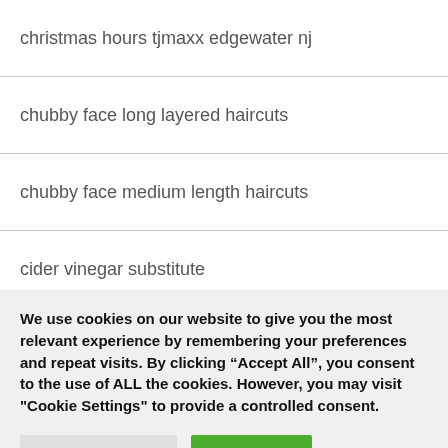christmas hours tjmaxx edgewater nj
chubby face long layered haircuts
chubby face medium length haircuts
cider vinegar substitute
cincinnati sniffies
cinemark perkins rowe
We use cookies on our website to give you the most relevant experience by remembering your preferences and repeat visits. By clicking “Accept All”, you consent to the use of ALL the cookies. However, you may visit "Cookie Settings" to provide a controlled consent.
Cookie Settings | Accept All